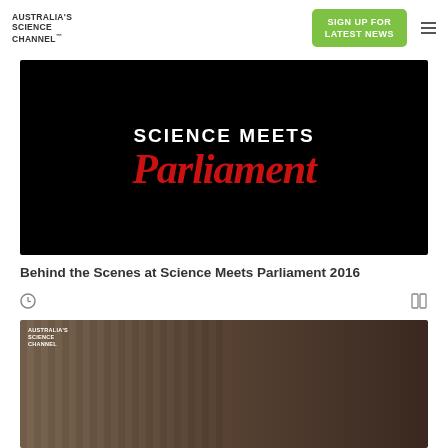AUSTRALIA'S SCIENCE CHANNEL™
SIGN UP FOR LATEST NEWS
[Figure (screenshot): Black background image with 'SCIENCE MEETS Parliament' logo text — 'SCIENCE MEETS' in white bold uppercase, 'Parliament' in large red italic serif font]
Behind the Scenes at Science Meets Parliament 2016
[Figure (photo): Partial view of a video thumbnail showing Australia's Science Channel logo overlay, with people in background against dark curtain]